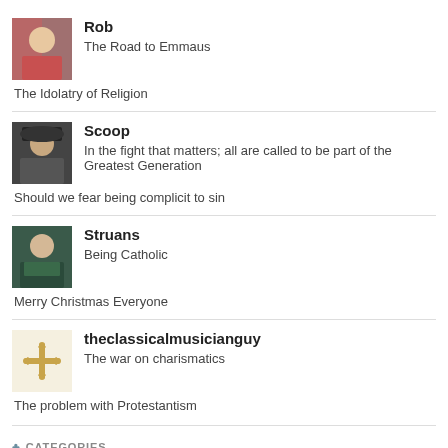[Figure (photo): Avatar photo of Rob - person in pink/checkered shirt]
Rob
The Road to Emmaus
The Idolatry of Religion
[Figure (photo): Avatar photo of Scoop - person with hat/sunglasses]
Scoop
In the fight that matters; all are called to be part of the Greatest Generation
Should we fear being complicit to sin
[Figure (photo): Avatar photo of Struans - young man in green jacket]
Struans
Being Catholic
Merry Christmas Everyone
[Figure (logo): Avatar logo for theclassicalmusicianguy - ornamental cross/snowflake pattern in gold]
theclassicalmusicianguy
The war on charismatics
The problem with Protestantism
♣ CATEGORIES
Select Category